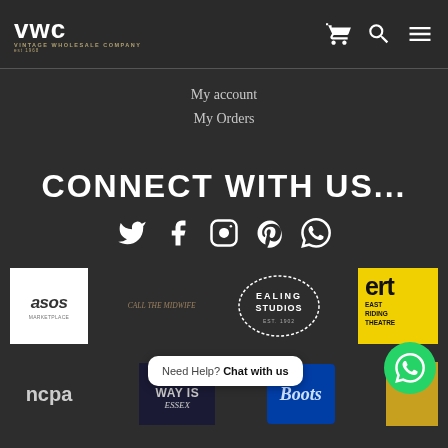VWC Vintage Wholesale Company - header with cart, search, and menu icons
My account
My Orders
CONNECT WITH US...
[Figure (infographic): Social media icons: Twitter, Facebook, Instagram, Pinterest, WhatsApp]
[Figure (infographic): Partner logos row 1: asos, Call the Midwife, Ealing Studios, ert East Riding Theatre]
[Figure (infographic): Partner logos row 2: ncpa, The Only Way Is Essex, Boots, partially visible gold logo; Chat with us overlay bubble and WhatsApp button]